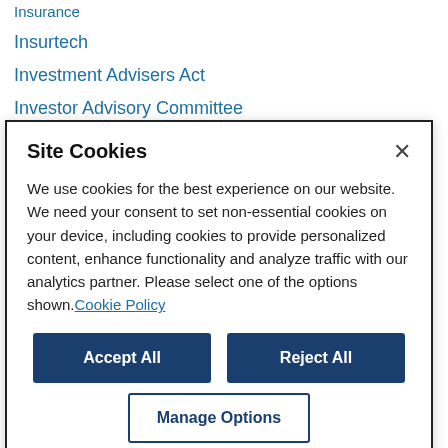Insurance
Insurtech
Investment Advisers Act
Investor Advisory Committee
[Figure (screenshot): Cookie consent modal dialog with title 'Site Cookies', body text about cookie usage, and three buttons: Accept All, Reject All, Manage Options]
...